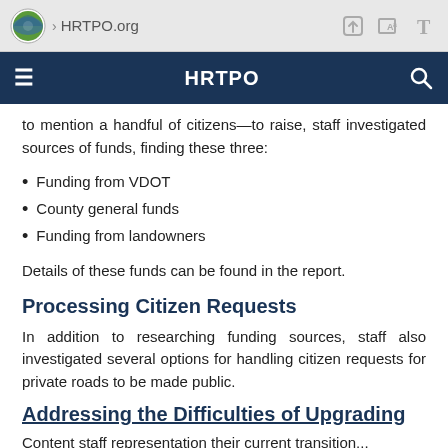HRTPO.org | HRTPO
to mention a handful of citizens—to raise, staff investigated sources of funds, finding these three:
Funding from VDOT
County general funds
Funding from landowners
Details of these funds can be found in the report.
Processing Citizen Requests
In addition to researching funding sources, staff also investigated several options for handling citizen requests for private roads to be made public.
Addressing the Difficulties of Upgrading
Content staff representation their current transition...